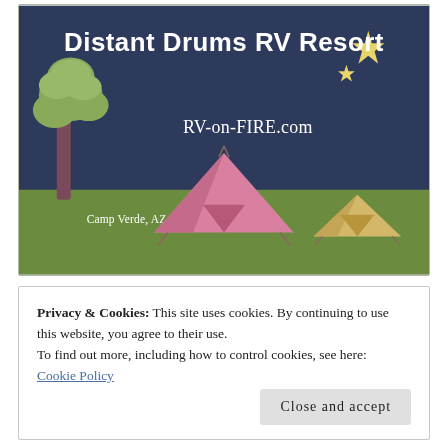[Figure (illustration): Distant Drums RV Resort banner: dark navy sky with stars, green ground, a tree on the left, a large pink tent and a smaller yellow tent on the right. Title 'Distant Drums RV Resort' in white at top, 'RV-on-FIRE.com' in white center, 'Camp Verde, AZ' in small white text lower left.]
Privacy & Cookies: This site uses cookies. By continuing to use this website, you agree to their use.
To find out more, including how to control cookies, see here:
Cookie Policy
Close and accept